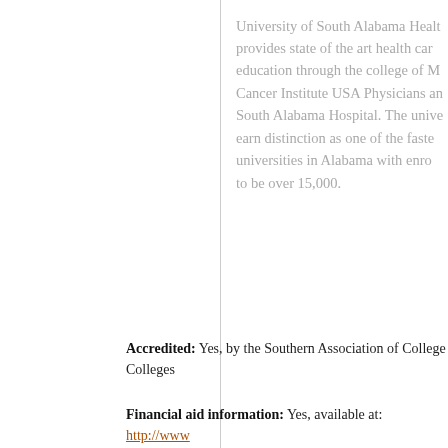University of South Alabama Health provides state of the art health care education through the college of Medicine, Cancer Institute USA Physicians and South Alabama Hospital. The university earn distinction as one of the fastest growing universities in Alabama with enrollment reported to be over 15,000.
Accredited: Yes, by the Southern Association of Colleges and Colleges
Financial aid information: Yes, available at: http://www...
Main website address: http://www.southalabama.edu/